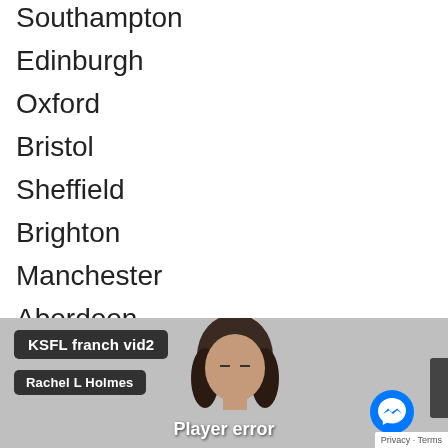Southampton
Edinburgh
Oxford
Bristol
Sheffield
Brighton
Manchester
Aberdeen
Bucks
Glasgow
[Figure (screenshot): Video player screenshot showing 'KSFL franch vid2' by Rachel L Holmes with a person visible and a Player error message at the bottom. A Facebook Messenger icon and Privacy/Terms link are visible.]